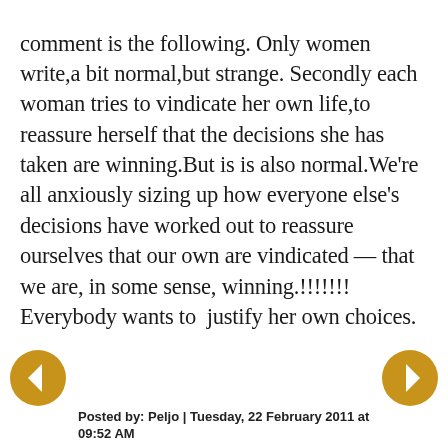comment is the following. Only women write,a bit normal,but strange. Secondly each woman tries to vindicate her own life,to reassure herself that the decisions she has taken are winning.But is is also normal.We're all anxiously sizing up how everyone else's decisions have worked out to reassure ourselves that our own are vindicated — that we are, in some sense, winning.!!!!!!! Everybody wants to  justify her own choices.
Posted by: Peljo | Tuesday, 22 February 2011 at 09:52 AM